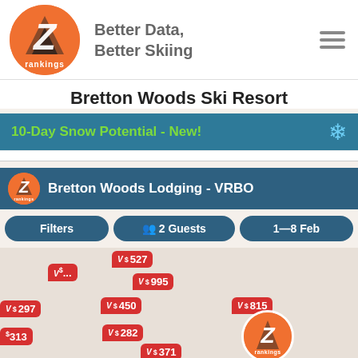[Figure (logo): Z Rankings orange circular logo with white Z and mountain silhouette, 'rankings' text at bottom]
Better Data, Better Skiing
Bretton Woods Ski Resort
10-Day Snow Potential - New!
Bretton Woods Lodging - VRBO
Filters   2 Guests   1—8 Feb
[Figure (screenshot): Map view with VRBO price pins showing lodging prices: $527, $995, $297, $450, $815, $313, $282, $371 with small V logos indicating VRBO listings, plus a Z Rankings logo marker]